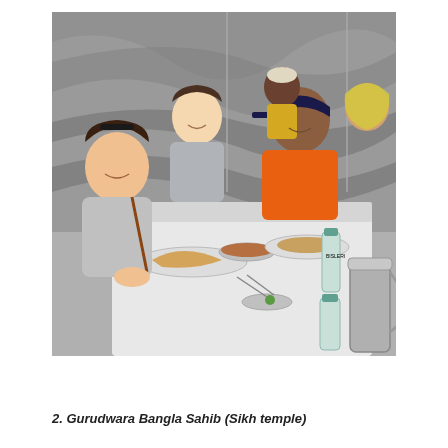[Figure (photo): Group of people sitting around a white table eating a meal in what appears to be a cafeteria or dining hall. A woman with sunglasses on her head and a man in a grey hoodie sit on the left side. A man in an orange jacket wearing a dark cap sits across. Various Indian food dishes, water bottles, and a steel pitcher are on the table. The background has grey marble-patterned panels and other diners.]
2. Gurudwara Bangla Sahib (Sikh temple)